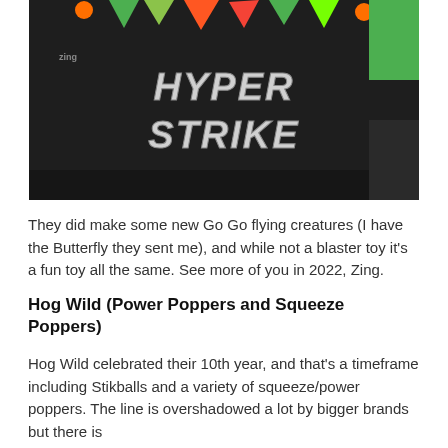[Figure (photo): A black Zing Hyper Strike blaster toy with a large logo on the front reading 'HYPER STRIKE' in bold silver lettering. The top of the toy is covered with colorful foam darts/accessories in red, green and orange. A bright green bag is visible in the upper right corner.]
They did make some new Go Go flying creatures (I have the Butterfly they sent me), and while not a blaster toy it's a fun toy all the same. See more of you in 2022, Zing.
Hog Wild (Power Poppers and Squeeze Poppers)
Hog Wild celebrated their 10th year, and that's a timeframe including Stikballs and a variety of squeeze/power poppers. The line is overshadowed a lot by bigger brands but there is